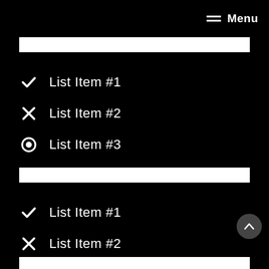Menu
List Item #1
List Item #2
List Item #3
List Item #1
List Item #2
List Item #3